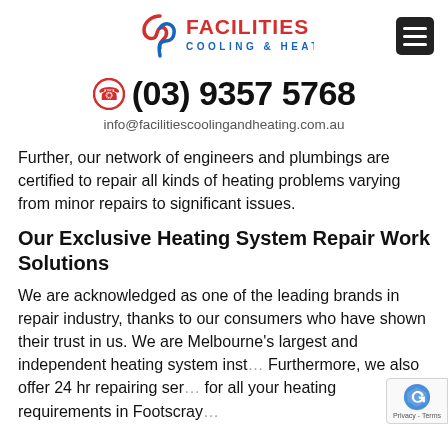Facilities Cooling & Heating — logo and navigation
(03) 9357 5768
info@facilitiescoolingandheating.com.au
Further, our network of engineers and plumbings are certified to repair all kinds of heating problems varying from minor repairs to significant issues.
Our Exclusive Heating System Repair Work Solutions
We are acknowledged as one of the leading brands in repair industry, thanks to our consumers who have shown their trust in us. We are Melbourne's largest and independent heating system inst... Furthermore, we also offer 24 hr repairing ser... for all your heating requirements in Footscray...